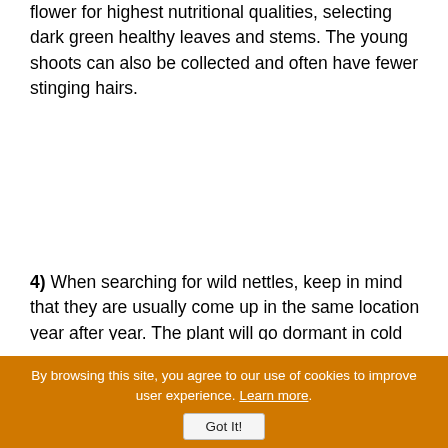flower for highest nutritional qualities, selecting dark green healthy leaves and stems. The young shoots can also be collected and often have fewer stinging hairs.
4) When searching for wild nettles, keep in mind that they are usually come up in the same location year after year. The plant will go dormant in cold winter climates, but will start to grow back in early spring.
5) When wildcrafting wild edibles it is always best to collect your herbs in unpolluted areas, far away from roadsides or industrial complexes.
By browsing this site, you agree to our use of cookies to improve user experience. Learn more.
Got It!